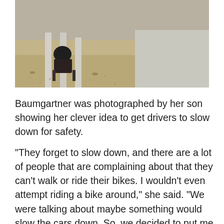[Figure (photo): Outdoor photo showing a person sitting in a chair between white posts on a gravel area, with a road visible in the background.]
Baumgartner was photographed by her son showing her clever idea to get drivers to slow down for safety.
“They forget to slow down, and there are a lot of people that are complaining about that they can’t walk or ride their bikes. I wouldn’t even attempt riding a bike around,” she said. “We were talking about maybe something would slow the cars down. So, we decided to put me in a chair and I guess use the hair dryer as a speed thing,” Baumgartner said.
Baumgartner’s son took the picture of her and tweeted it out to Trooper Noah Pesola, hoping to catch his attention